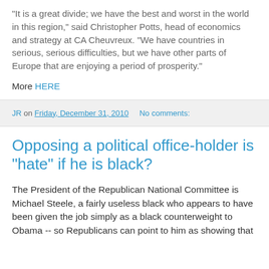"It is a great divide; we have the best and worst in the world in this region," said Christopher Potts, head of economics and strategy at CA Cheuvreux. "We have countries in serious, serious difficulties, but we have other parts of Europe that are enjoying a period of prosperity."
More HERE
JR on Friday, December 31, 2010   No comments:
Opposing a political office-holder is "hate" if he is black?
The President of the Republican National Committee is Michael Steele, a fairly useless black who appears to have been given the job simply as a black counterweight to Obama -- so Republicans can point to him as showing that